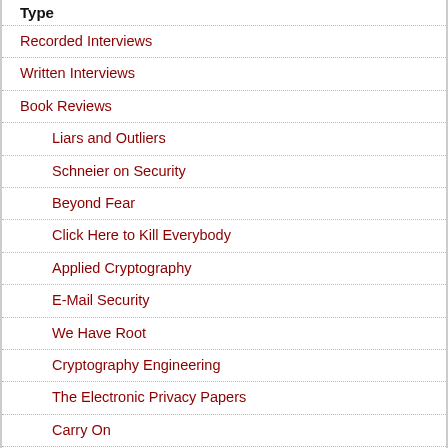Type
Recorded Interviews
Written Interviews
Book Reviews
Liars and Outliers
Schneier on Security
Beyond Fear
Click Here to Kill Everybody
Applied Cryptography
E-Mail Security
We Have Root
Cryptography Engineering
The Electronic Privacy Papers
Carry On
Secrets & Lies
Data and Goliath
Practical Cryptography
Awards and Recognition
Articles